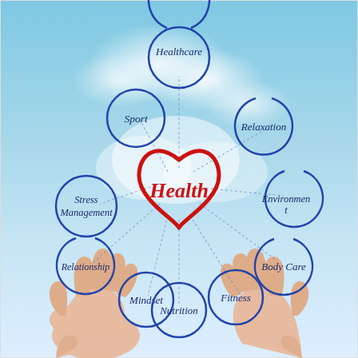[Figure (infographic): Health infographic showing two hands raised upward against a blue sky background. In the center is a large red heart outline with the word 'Health' written in red italic text inside it. Around the heart are 9 blue circular ring diagrams connected to the center, each labeled with a health concept: Healthcare (top center), Sport (upper left), Stress Management (left), Relationship (lower left), Mindset (bottom left), Nutrition (bottom center), Fitness (bottom right), Body Care (right), Environment (right), Relaxation (upper right). All circle labels are in dark navy italic text.]